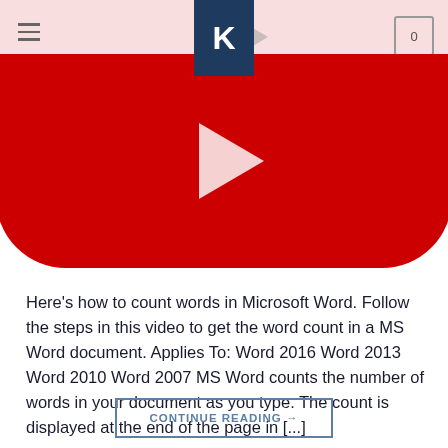K
[Figure (screenshot): YouTube-style video thumbnail showing a red rounded rectangle with a white play button, partially cropped at top. Above it is a website header with hamburger menu, a K logo on dark blue background, and a cart icon showing 0.]
Here’s how to count words in Microsoft Word. Follow the steps in this video to get the word count in a MS Word document. Applies To: Word 2016 Word 2013 Word 2010 Word 2007 MS Word counts the number of words in your document as you type. The count is displayed at the end of the page in [...]
CONTINUE READING →